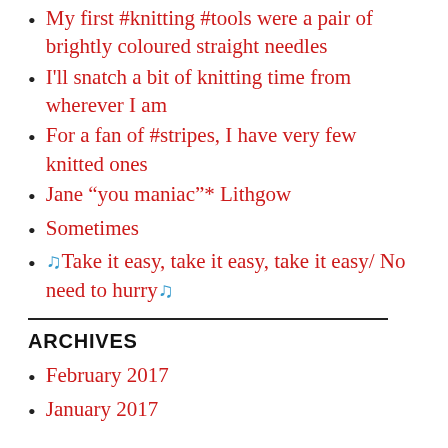My first #knitting #tools were a pair of brightly coloured straight needles
I'll snatch a bit of knitting time from wherever I am
For a fan of #stripes, I have very few knitted ones
Jane “you maniac”* Lithgow
Sometimes
♫Take it easy, take it easy, take it easy/ No need to hurry♫
ARCHIVES
February 2017
January 2017